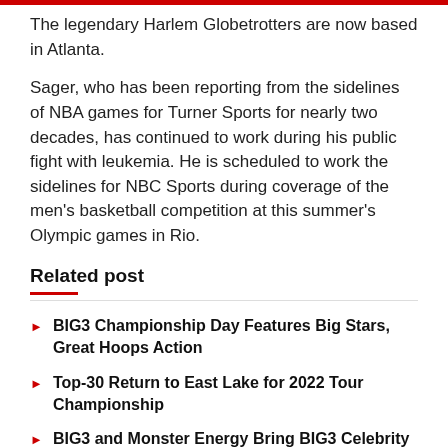The legendary Harlem Globetrotters are now based in Atlanta.
Sager, who has been reporting from the sidelines of NBA games for Turner Sports for nearly two decades, has continued to work during his public fight with leukemia. He is scheduled to work the sidelines for NBC Sports during coverage of the men's basketball competition at this summer's Olympic games in Rio.
Related post
BIG3 Championship Day Features Big Stars, Great Hoops Action
Top-30 Return to East Lake for 2022 Tour Championship
BIG3 and Monster Energy Bring BIG3 Celebrity Game to Atlanta This Weekend